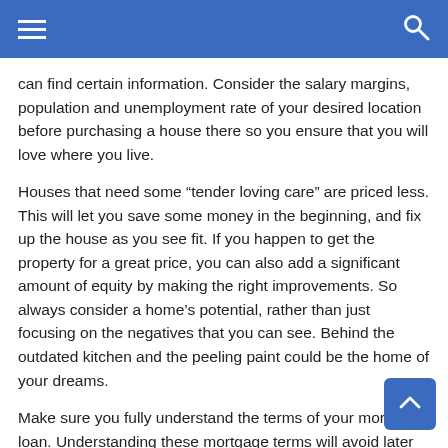navigation bar with hamburger menu and search icon
can find certain information. Consider the salary margins, population and unemployment rate of your desired location before purchasing a house there so you ensure that you will love where you live.
Houses that need some “tender loving care” are priced less. This will let you save some money in the beginning, and fix up the house as you see fit. If you happen to get the property for a great price, you can also add a significant amount of equity by making the right improvements. So always consider a home’s potential, rather than just focusing on the negatives that you can see. Behind the outdated kitchen and the peeling paint could be the home of your dreams.
Make sure you fully understand the terms of your mortgage loan. Understanding these mortgage terms will avoid later confusion regarding the amount of the monthly payment as well as the total coast paid over the lifetime of the loan.